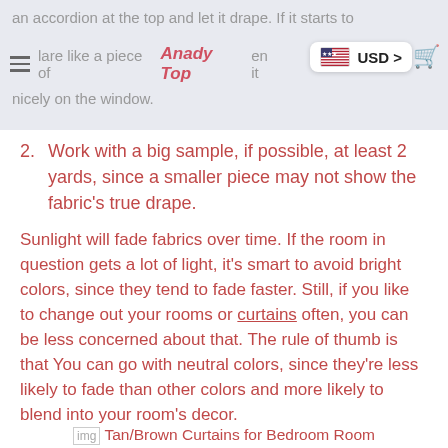an accordion at the top and let it drape. If it starts to flare like a piece of Anady Top en it nicely on the window.
2. Work with a big sample, if possible, at least 2 yards, since a smaller piece may not show the fabric's true drape.
Sunlight will fade fabrics over time. If the room in question gets a lot of light, it's smart to avoid bright colors, since they tend to fade faster. Still, if you like to change out your rooms or curtains often, you can be less concerned about that. The rule of thumb is that You can go with neutral colors, since they're less likely to fade than other colors and more likely to blend into your room's decor.
Tan/Brown Curtains for Bedroom Room